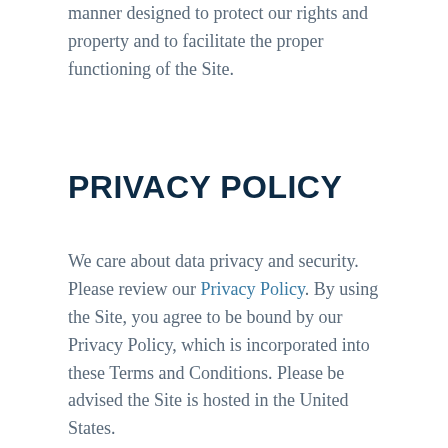manner designed to protect our rights and property and to facilitate the proper functioning of the Site.
PRIVACY POLICY
We care about data privacy and security. Please review our Privacy Policy. By using the Site, you agree to be bound by our Privacy Policy, which is incorporated into these Terms and Conditions. Please be advised the Site is hosted in the United States.